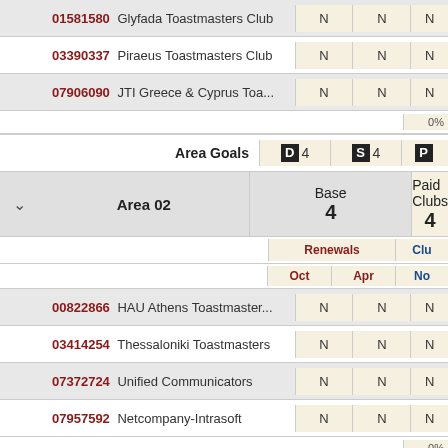| Club ID | Club Name | Oct | Apr | No |
| --- | --- | --- | --- | --- |
| 01581580 | Glyfada Toastmasters Club | N | N | N |
| 03390337 | Piraeus Toastmasters Club | N | N | N |
| 07906090 | JTI Greece & Cyprus Toa... | N | N | N |
| Area Goals |  | D 4 | S 4 | P |
| Area 02 | Base 4 | Paid Clubs 4 |  |  |
| Renewals | Oct | Apr | Clu | No |
| 00822866 | HAU Athens Toastmaster... | N | N | N |
| 03414254 | Thessaloniki Toastmasters | N | N | N |
| 07372724 | Unified Communicators | N | N | N |
| 07957592 | Netcompany-Intrasoft | N | N | N |
| Area Goals |  | D 4 | S 4 | P |
| Area 03 | Base 4 | Paid Clubs 4 |  |  |
| Renewals | Oct | Apr | Clu | No |
| 04110328 | Kifissia Toastmasters Club | N | N | N |